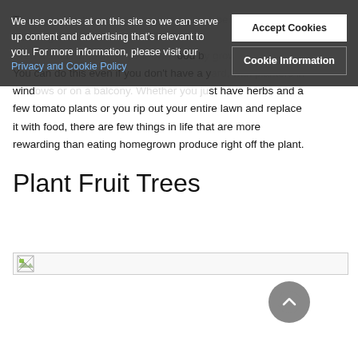There are few things more rewarding than being able to grow even a small amount of your own food by growing it yourself. You can do this even if you don't have a yard, with planters in windows or on a balcony. Whether you just have herbs and a few tomato plants or you rip out your entire lawn and replace it with food, there are few things in life that are more rewarding than eating homegrown produce right off the plant.
[Figure (other): Cookie consent banner overlay with text: 'We use cookies at on this site so we can serve up content and advertising that's relevant to you. For more information, please visit our Privacy and Cookie Policy'. Two buttons: 'Accept Cookies' and 'Cookie Information'.]
Plant Fruit Trees
[Figure (photo): Broken/loading image placeholder at the top of a fruit trees section]